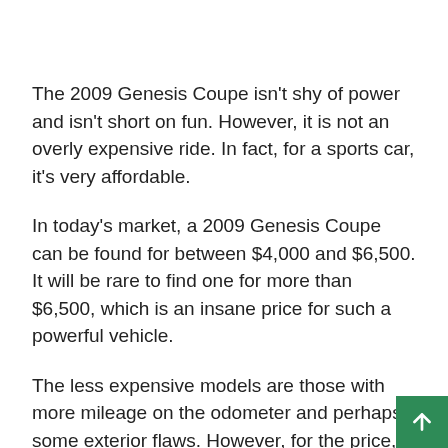The 2009 Genesis Coupe isn't shy of power and isn't short on fun. However, it is not an overly expensive ride. In fact, for a sports car, it's very affordable.
In today's market, a 2009 Genesis Coupe can be found for between $4,000 and $6,500. It will be rare to find one for more than $6,500, which is an insane price for such a powerful vehicle.
The less expensive models are those with more mileage on the odometer and perhaps some exterior flaws. However, for the price, any buyer could easily fix the look for a few hundred dollars. Likewise, the most expensive models will likely be those with a higher trim or larger engine. For that price, it's amazing to get any car with an engine that can deliver over 300 horsepower. It's a good thing.